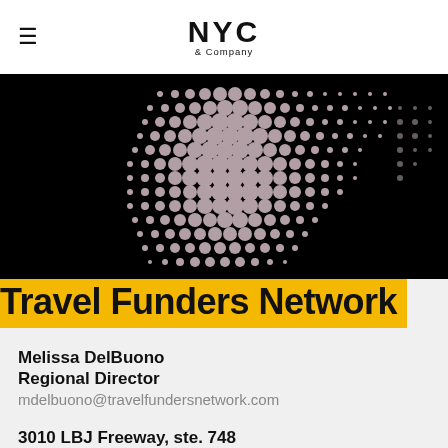NYC & Company
[Figure (photo): Dark abstract halftone dot pattern forming a face/figure silhouette in black and white/pink tones, NYC & Company branding image]
Travel Funders Network
Melissa DelBuono
Regional Director
mdelbuono@travelfundersnetwork.com
3010 LBJ Freeway, ste. 748